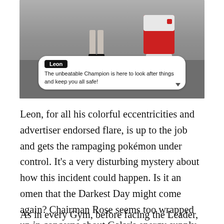[Figure (screenshot): Screenshot from Pokémon Sword/Shield showing Leon character with a dialog box. Leon says: 'The unbeatable Champion is here to look after things and keep you all safe!']
Leon, for all his colorful eccentricities and advertiser endorsed flare, is up to the job and gets the rampaging pokémon under control. It's a very disturbing mystery about how this incident could happen. Is it an omen that the Darkest Day might come again? Chairman Rose seems too wrapped up in concerns about Galar's energy supply to give it much attention. Leon assures Hop and I that he'll handle any problems. We need to get on and face Dragon Leader Raihan.
As in every Gym, before facing the Leader,